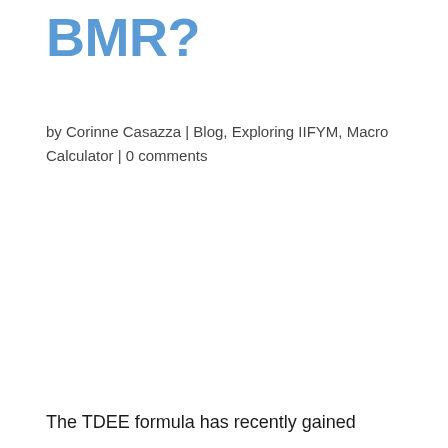BMR?
by Corinne Casazza | Blog, Exploring IIFYM, Macro Calculator | 0 comments
The TDEE formula has recently gained